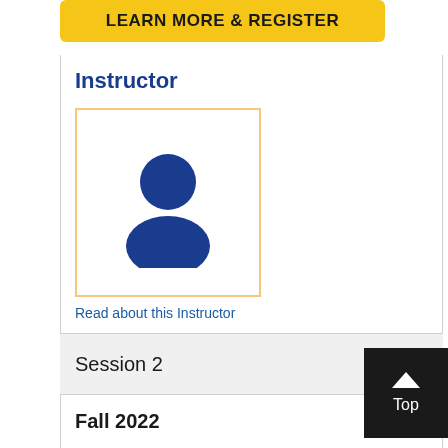[Figure (other): Yellow 'LEARN MORE & REGISTER' button]
Instructor
[Figure (photo): Generic blue person/user silhouette avatar inside a yellow-bordered box]
Read about this Instructor
Session 2
Fall 2022
[Figure (other): Black 'Top' button with upward chevron arrow]